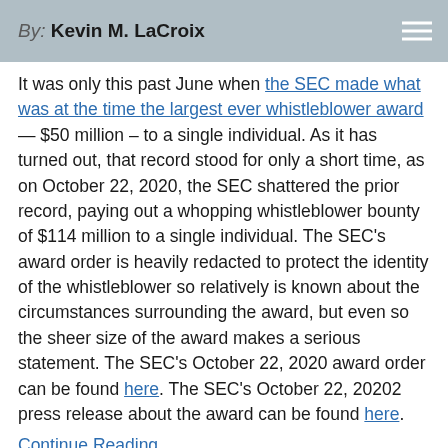By: Kevin M. LaCroix
It was only this past June when the SEC made what was at the time the largest ever whistleblower award — $50 million – to a single individual. As it has turned out, that record stood for only a short time, as on October 22, 2020, the SEC shattered the prior record, paying out a whopping whistleblower bounty of $114 million to a single individual. The SEC's award order is heavily redacted to protect the identity of the whistleblower so relatively is known about the circumstances surrounding the award, but even so the sheer size of the award makes a serious statement. The SEC's October 22, 2020 award order can be found here. The SEC's October 22, 20202 press release about the award can be found here.
Continue Reading